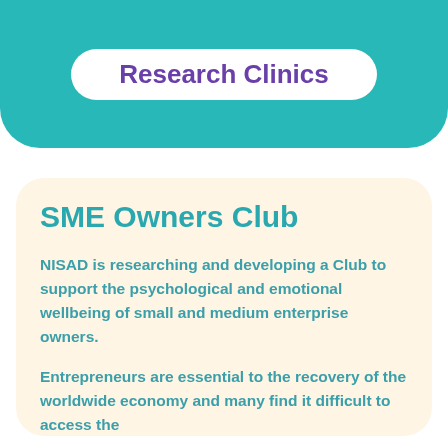Research Clinics
SME Owners Club
NISAD is researching and developing a Club to support the psychological and emotional wellbeing of small and medium enterprise owners.
Entrepreneurs are essential to the recovery of the worldwide economy and many find it difficult to access the